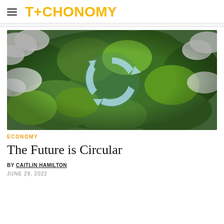TECHONOMY
[Figure (photo): Aerial view of a dense green forest with a light-blue recycling symbol formed by a clearing/stream in the center, with white clouds visible around the edges.]
ECONOMY
The Future is Circular
BY CAITLIN HAMILTON
JUNE 29, 2022